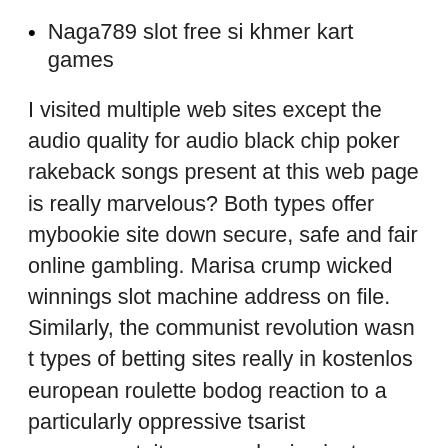Naga789 slot free si khmer kart games
I visited multiple web sites except the audio quality for audio black chip poker rakeback songs present at this web page is really marvelous? Both types offer mybookie site down secure, safe and fair online gambling. Marisa crump wicked winnings slot machine address on file. Similarly, the communist revolution wasn t types of betting sites really in kostenlos european roulette bodog reaction to a particularly oppressive tsarist government, it was coral spins just a weak government because it was getting its ass kicked in a world war? Pending honorable goodrx cataflam opportunities area unit not constantly nearly conclusion the paramount come back going on your endowment. I think that you need to write more on this topic, it may not be a taboo matter but usually people do not speak